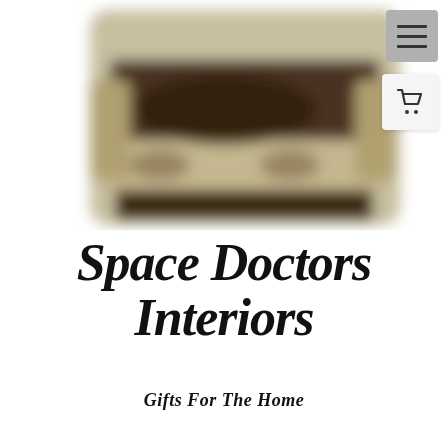[Figure (photo): Blurred photo of an upholstered furniture piece, likely a sofa or loveseat with decorative fabric pattern in cream, brown and dark tones]
Space Doctors Interiors
Gifts For The Home